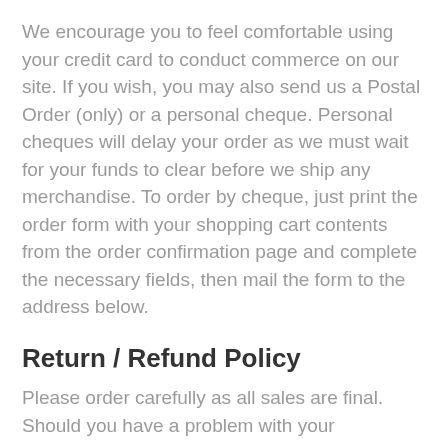We encourage you to feel comfortable using your credit card to conduct commerce on our site. If you wish, you may also send us a Postal Order (only) or a personal cheque. Personal cheques will delay your order as we must wait for your funds to clear before we ship any merchandise. To order by cheque, just print the order form with your shopping cart contents from the order confirmation page and complete the necessary fields, then mail the form to the address below.
Return / Refund Policy
Please order carefully as all sales are final. Should you have a problem with your